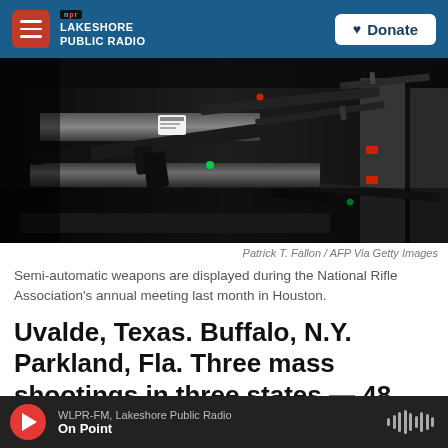NPR Lakeshore Public Radio | Donate
[Figure (photo): Close-up photo of semi-automatic rifles displayed on dark metal racks with red and green indicator lights, taken at the National Rifle Association's annual meeting in Houston.]
Patrick T. Fallon / AFP Via Getty Images
Semi-automatic weapons are displayed during the National Rifle Association's annual meeting last month in Houston.
Uvalde, Texas. Buffalo, N.Y. Parkland, Fla. Three mass shootings in three states — 48 people killed in
WLPR-FM, Lakeshore Public Radio | On Point